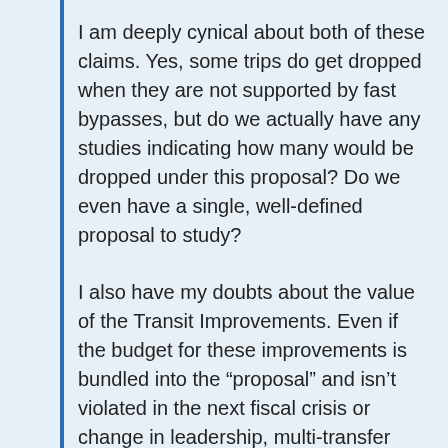I am deeply cynical about both of these claims. Yes, some trips do get dropped when they are not supported by fast bypasses, but do we actually have any studies indicating how many would be dropped under this proposal? Do we even have a single, well-defined proposal to study?
I also have my doubts about the value of the Transit Improvements. Even if the budget for these improvements is bundled into the “proposal” and isn’t violated in the next fiscal crisis or change in leadership, multi-transfer commutes are extremely unappealing, and this is what we see for most commuters who do not work within downtown.
For the “surface option” to be an overall win for